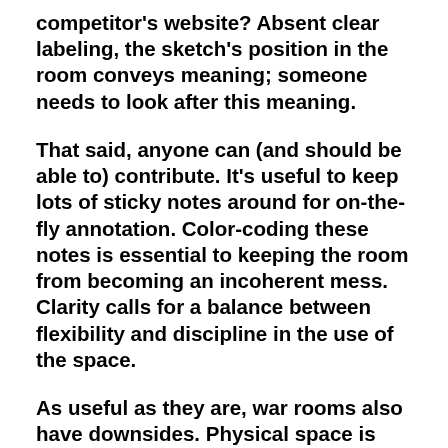competitor's website? Absent clear labeling, the sketch's position in the room conveys meaning; someone needs to look after this meaning.
That said, anyone can (and should be able to) contribute. It's useful to keep lots of sticky notes around for on-the-fly annotation. Color-coding these notes is essential to keeping the room from becoming an incoherent mess. Clarity calls for a balance between flexibility and discipline in the use of the space.
As useful as they are, war rooms also have downsides. Physical space is limited; walls get crowded after a while. Is a particular